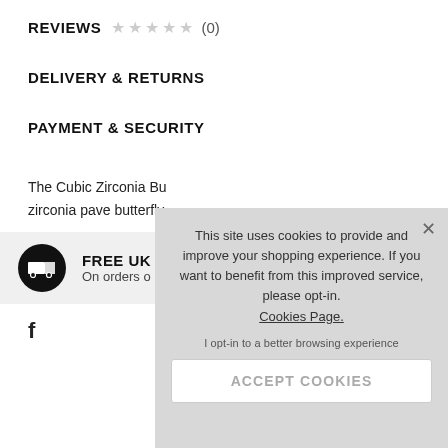REVIEWS ☆☆☆☆☆ (0)
DELIVERY & RETURNS
PAYMENT & SECURITY
The Cubic Zirconia Bu
zirconia pave butterfly
FREE UK D
On orders o
f
This site uses cookies to provide and improve your shopping experience. If you want to benefit from this improved service, please opt-in. Cookies Page.

I opt-in to a better browsing experience

ACCEPT COOKIES